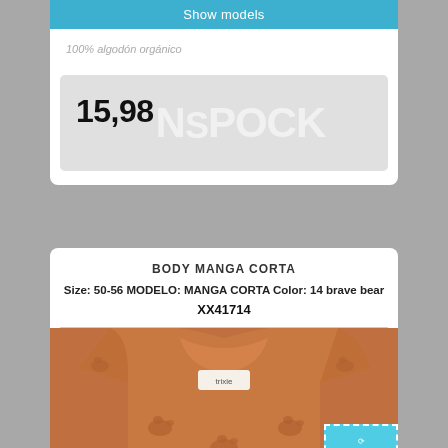Show models
100% algodón orgánico
15,98
BODY MANGA CORTA
Size: 50-56 MODELO: MANGA CORTA Color: 14 brave bear
XX41714
[Figure (photo): Orange/rust colored baby short-sleeve bodysuit with bear print pattern, showing collar area with trixie label, with OUTLET badge in bottom right corner]